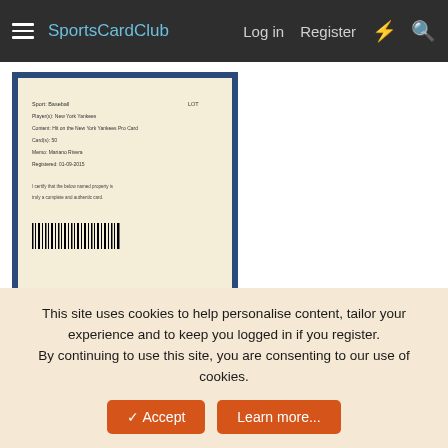SportsCardClub  Log in  Register
[Figure (photo): Sports card certificate of authenticity document with barcode, framed in dark blue border]
[Figure (photo): Mariano Rivera autographed baseball card (New York Yankees pitcher) with blue signature, numbered, framed in dark blue border]
[Figure (photo): Partial view of additional sports cards at bottom of page]
This site uses cookies to help personalise content, tailor your experience and to keep you logged in if you register.
By continuing to use this site, you are consenting to our use of cookies.
✓ Accept   Learn more...